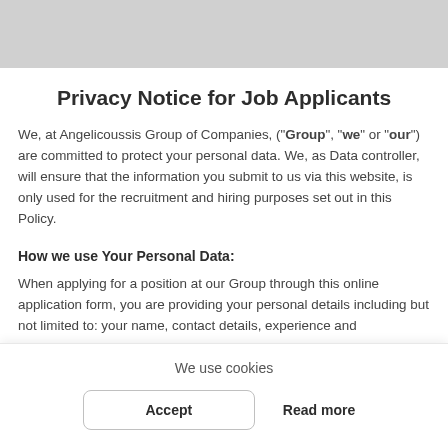Privacy Notice for Job Applicants
We, at Angelicoussis Group of Companies, ("Group", "we" or "our") are committed to protect your personal data. We, as Data controller, will ensure that the information you submit to us via this website, is only used for the recruitment and hiring purposes set out in this Policy.
How we use Your Personal Data:
When applying for a position at our Group through this online application form, you are providing your personal details including but not limited to: your name, contact details, experience and qualifications
We use cookies
Accept
Read more